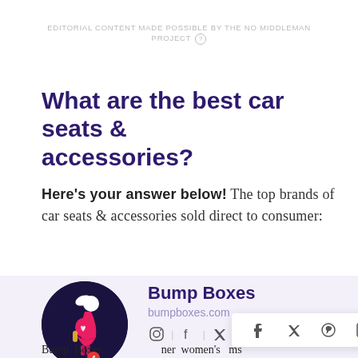EDITORIAL CONTENT MADE POSSIBLE BY THE NO MIDDLEMAN PROJECT
What are the best car seats & accessories?
Here's your answer below! The top brands of car seats & accessories sold direct to consumer:
[Figure (logo): Bump Boxes circular logo with pregnant woman silhouette on dark background]
Bump Boxes
bumpboxes.com
Bump Boxes ... ner women's ms